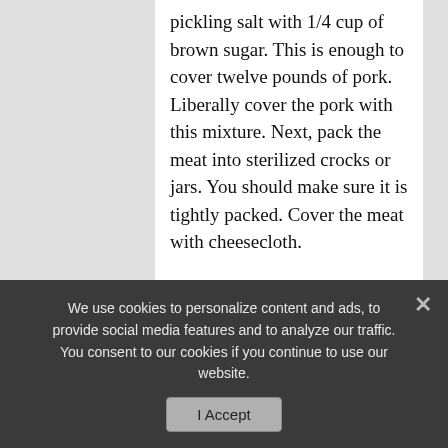pickling salt with 1/4 cup of brown sugar. This is enough to cover twelve pounds of pork. Liberally cover the pork with this mixture. Next, pack the meat into sterilized crocks or jars. You should make sure it is tightly packed. Cover the meat with cheesecloth.
Using the temperature chart of your house, determine where to store your crocks. You need to keep the meat in an area that is about 36°F – no higher than 38°F. You also do not want an area that could see freezing temperatures. Leave the meat in this cool storage for at least one month. After that time, you can wrap the meat in plastic or
We use cookies to personalize content and ads, to provide social media features and to analyze our traffic. You consent to our cookies if you continue to use our website.